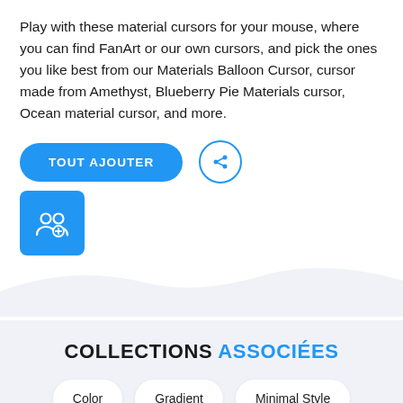Play with these material cursors for your mouse, where you can find FanArt or our own cursors, and pick the ones you like best from our Materials Balloon Cursor, cursor made from Amethyst, Blueberry Pie Materials cursor, Ocean material cursor, and more.
[Figure (screenshot): Blue 'TOUT AJOUTER' button and a circular share icon button, plus a blue square icon with a user-group symbol]
[Figure (illustration): Light blue-gray wave/blob shape dividing the white top section from the light gray bottom section]
COLLECTIONS ASSOCIÉES
Color
Gradient
Minimal Style
Neon
Starter